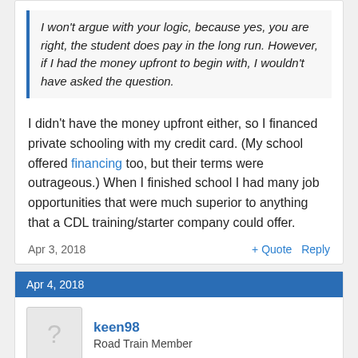I won't argue with your logic, because yes, you are right, the student does pay in the long run. However, if I had the money upfront to begin with, I wouldn't have asked the question.
I didn't have the money upfront either, so I financed private schooling with my credit card. (My school offered financing too, but their terms were outrageous.) When I finished school I had many job opportunities that were much superior to anything that a CDL training/starter company could offer.
Apr 3, 2018
+ Quote  Reply
Apr 4, 2018
keen98
Road Train Member
Millis Transfer